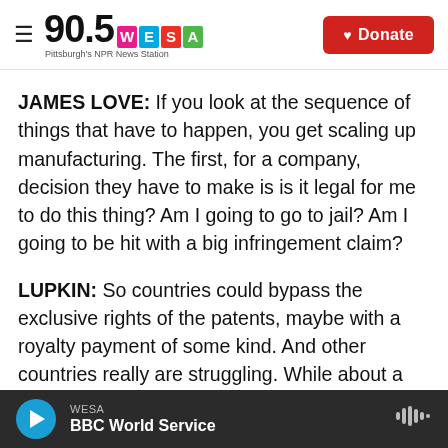90.5 WESA — Pittsburgh's NPR News Station | Donate
JAMES LOVE: If you look at the sequence of things that have to happen, you get scaling up manufacturing. The first, for a company, decision they have to make is is it legal for me to do this thing? Am I going to go to jail? Am I going to be hit with a big infringement claim?
LUPKIN: So countries could bypass the exclusive rights of the patents, maybe with a royalty payment of some kind. And other countries really are struggling. While about a third of the U.S. population is now fully vaccinated in India, that
WESA — BBC World Service